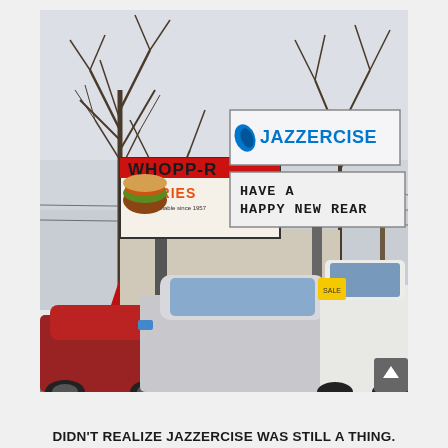[Figure (photo): Outdoor photograph showing a Burger King sign reading 'WHOPP-R & FRIES' with Burger King logo, and next to it a Jazzercise sign with a marquee board reading 'HAVE A HAPPY NEW REAR'. Bare winter trees in background, cars in parking lot foreground.]
DIDN'T REALIZE JAZZERCISE WAS STILL A THING.